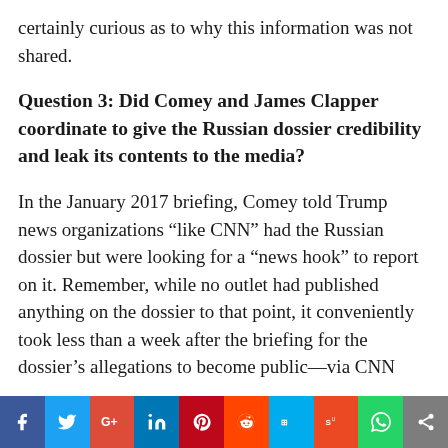certainly curious as to why this information was not shared.
Question 3: Did Comey and James Clapper coordinate to give the Russian dossier credibility and leak its contents to the media?
In the January 2017 briefing, Comey told Trump news organizations “like CNN” had the Russian dossier but were looking for a “news hook” to report on it. Remember, while no outlet had published anything on the dossier to that point, it conveniently took less than a week after the briefing for the dossier’s allegations to become public—via CNN
[Figure (infographic): Social media sharing buttons bar: Facebook (blue), Twitter (light blue), Google+ (red), LinkedIn (blue), Pinterest (dark red), Reddit (orange-red), Digg (teal/blue), StumbleUpon (orange-red), WhatsApp (green), Share (gray)]